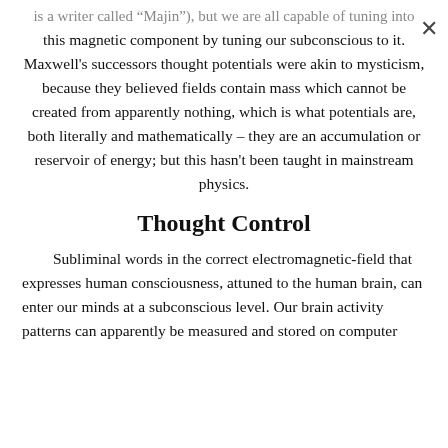is a writer called "Majin"), but we are all capable of tuning into this magnetic component by tuning our subconscious to it. Maxwell's successors thought potentials were akin to mysticism, because they believed fields contain mass which cannot be created from apparently nothing, which is what potentials are, both literally and mathematically – they are an accumulation or reservoir of energy; but this hasn't been taught in mainstream physics.
Thought Control
Subliminal words in the correct electromagnetic-field that expresses human consciousness, attuned to the human brain, can enter our minds at a subconscious level. Our brain activity patterns can apparently be measured and stored on computer